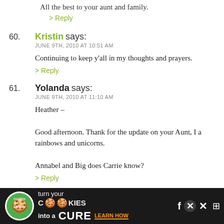All the best to your aunt and family.
> Reply
60. Kristin says:
JUNE 9TH, 2010 AT 10:51 AM
Continuing to keep y'all in my thoughts and prayers.
> Reply
61. Yolanda says:
JUNE 9TH, 2010 AT 11:10 AM
Heather –
Good afternoon. Thank for the update on your Aunt, I a... rainbows and unicorns.
Annabel and Big does Carrie know?
> Reply
62. Krissa says:
JUNE 9TH, 2010 AT 11:19 AM
[Figure (infographic): Advertisement banner: cookies for kids cancer - turn your cookies into a CURE LEARN HOW]